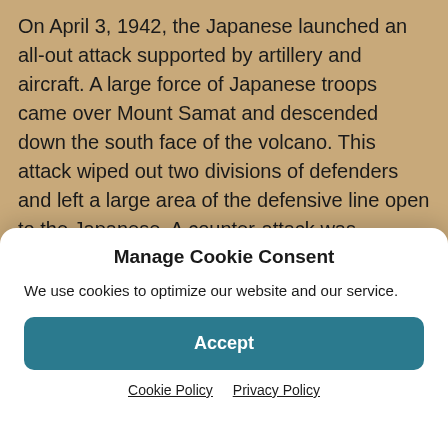On April 3, 1942, the Japanese launched an all-out attack supported by artillery and aircraft. A large force of Japanese troops came over Mount Samat and descended down the south face of the volcano. This attack wiped out two divisions of defenders and left a large area of the defensive line open to the Japanese. A counter-attack was launched – on April 7 – by the 57th Infantry, Philippine Scouts which was supported by tanks. Its objective was to restore the line, but Japanese infiltrators prevented this from happening. During this action, one tank was knocked out but the remaining tanks
Manage Cookie Consent
We use cookies to optimize our website and our service.
Accept
Cookie Policy  Privacy Policy